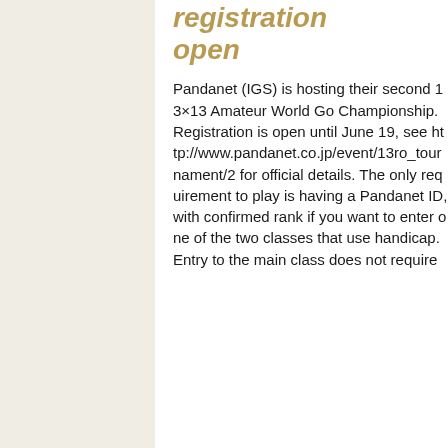registration open
Pandanet (IGS) is hosting their second 13×13 Amateur World Go Championship. Registration is open until June 19, see http://www.pandanet.co.jp/event/13ro_tournament/2 for official details. The only requirement to play is having a Pandanet ID, with confirmed rank if you want to enter one of the two classes that use handicap. Entry to the main class does not require